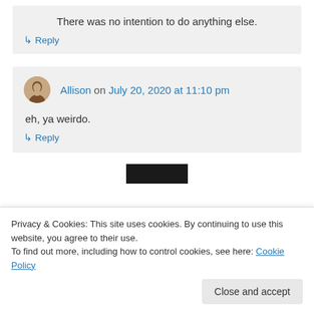There was no intention to do anything else.
↳ Reply
Allison on July 20, 2020 at 11:10 pm
eh, ya weirdo.
↳ Reply
[Figure (other): Dark/black rectangular bar, partially visible at top of a new comment section]
Privacy & Cookies: This site uses cookies. By continuing to use this website, you agree to their use.
To find out more, including how to control cookies, see here: Cookie Policy
Close and accept